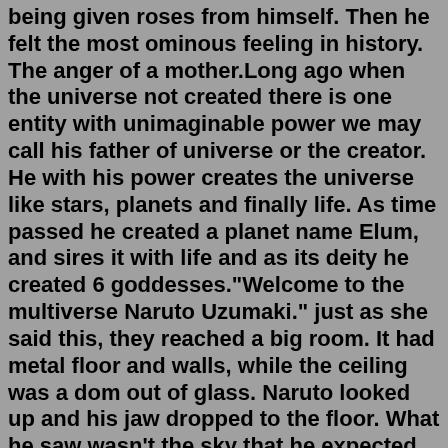being given roses from himself. Then he felt the most ominous feeling in history. The anger of a mother.Long ago when the universe not created there is one entity with unimaginable power we may call his father of universe or the creator. He with his power creates the universe like stars, planets and finally life. As time passed he created a planet name Elum, and sires it with life and as its deity he created 6 goddesses."Welcome to the multiverse Naruto Uzumaki." just as she said this, they reached a big room. It had metal floor and walls, while the ceiling was a dom out of glass. Naruto looked up and his jaw dropped to the floor. What he saw wasn't the sky that he expected. He saw the space but it wasn't pitch black, but had many different colors and shaped. naruto sasuke kakashi sakura uchiha itachi team7 akatsuki shikamaru anime narutoshippuden narutouzumaki uzumaki narutofanfic gaara konoha ninja sasukeuchiha fanfiction sasunaru 1.2K Stories Sort by: Hot Long ago when the universe not created there is one entity with unimaginable power we may